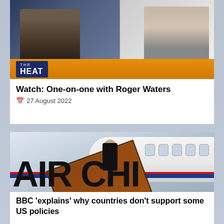[Figure (photo): TV show screenshot showing two people on 'The Heat' program with orange lower third bar]
Watch: One-on-one with Roger Waters
27 August 2022
[Figure (photo): Person walking down Air China airplane stairs, visible partial text 'AIR CHI' on fuselage]
BBC ‘explains’ why countries don’t support some US policies